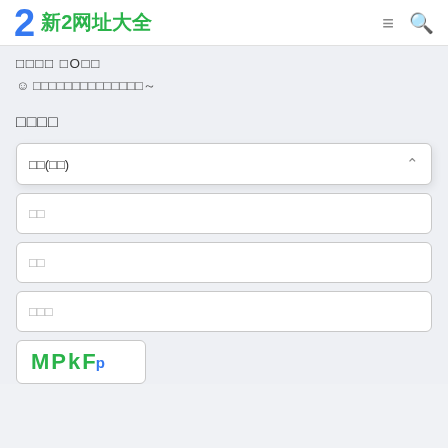2 新2网址大全
□□□□ □O□□
☺ □□□□□□□□□□□□□□～
□□□□
□□(□□)
□□
□□
□□□
[Figure (other): CAPTCHA image showing MPkP with superscript]